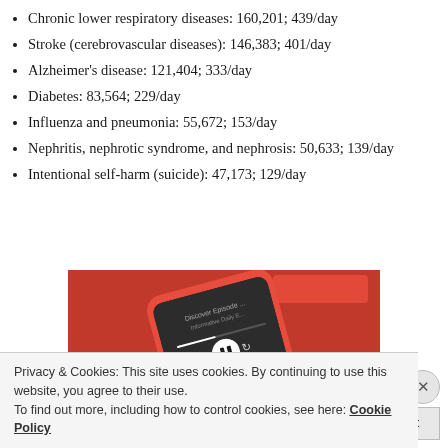Chronic lower respiratory diseases: 160,201; 439/day
Stroke (cerebrovascular diseases): 146,383; 401/day
Alzheimer's disease: 121,404; 333/day
Diabetes: 83,564; 229/day
Influenza and pneumonia: 55,672; 153/day
Nephritis, nephrotic syndrome, and nephrosis: 50,633; 139/day
Intentional self-harm (suicide): 47,173; 129/day
[Figure (photo): A smartphone with a red case displaying a media player interface, on a red background]
Privacy & Cookies: This site uses cookies. By continuing to use this website, you agree to their use.
To find out more, including how to control cookies, see here: Cookie Policy
Close and accept